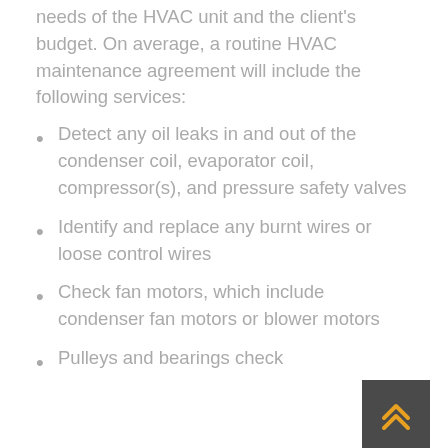needs of the HVAC unit and the client's budget. On average, a routine HVAC maintenance agreement will include the following services:
Detect any oil leaks in and out of the condenser coil, evaporator coil, compressor(s), and pressure safety valves
Identify and replace any burnt wires or loose control wires
Check fan motors, which include condenser fan motors or blower motors
Pulleys and bearings check